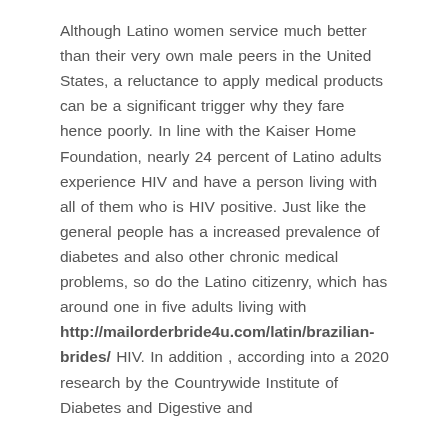Although Latino women service much better than their very own male peers in the United States, a reluctance to apply medical products can be a significant trigger why they fare hence poorly. In line with the Kaiser Home Foundation, nearly 24 percent of Latino adults experience HIV and have a person living with all of them who is HIV positive. Just like the general people has a increased prevalence of diabetes and also other chronic medical problems, so do the Latino citizenry, which has around one in five adults living with http://mailorderbride4u.com/latin/brazilian-brides/ HIV. In addition , according into a 2020 research by the Countrywide Institute of Diabetes and Digestive and